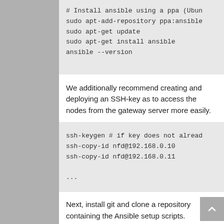[Figure (screenshot): Code block showing ansible installation commands: # Install ansible using a ppa (Ubun..., sudo apt-add-repository ppa:ansible..., sudo apt-get update, sudo apt-get install ansible, ansible --version]
We additionally recommend creating and deploying an SSH-key as to access the nodes from the gateway server more easily.
[Figure (screenshot): Code block with SSH commands: ssh-keygen # if key does not alread..., ssh-copy-id nfd@192.168.0.10, ssh-copy-id nfd@192.168.0.11, ...]
Next, install git and clone a repository containing the Ansible setup scripts.